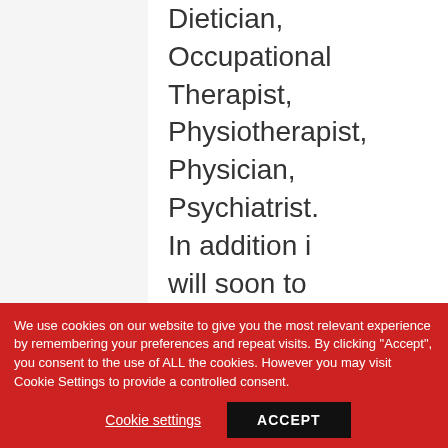Dietician, Occupational Therapist, Physiotherapist, Physician, Psychiatrist. In addition i will soon to be counseled by a Psychologist
We use cookies on our website to give you the most relevant experience by remembering your preferences and repeat visits. By clicking "Accept", you consent to the use of ALL the cookies. However you may visit Cookie Settings to provide a controlled consent.
Cookie settings
ACCEPT